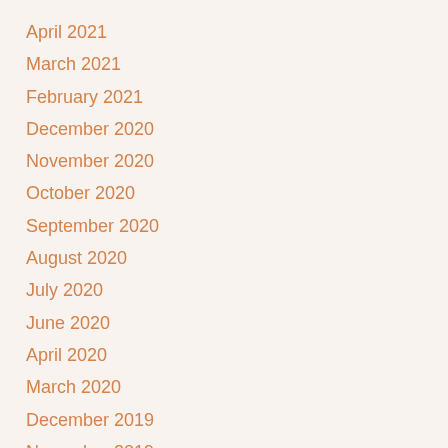April 2021
March 2021
February 2021
December 2020
November 2020
October 2020
September 2020
August 2020
July 2020
June 2020
April 2020
March 2020
December 2019
November 2019